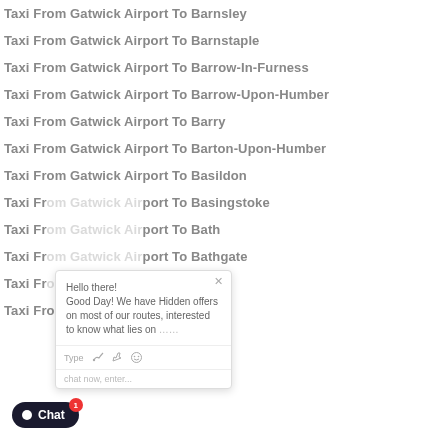Taxi From Gatwick Airport To Barnsley
Taxi From Gatwick Airport To Barnstaple
Taxi From Gatwick Airport To Barrow-In-Furness
Taxi From Gatwick Airport To Barrow-Upon-Humber
Taxi From Gatwick Airport To Barry
Taxi From Gatwick Airport To Barton-Upon-Humber
Taxi From Gatwick Airport To Basildon
Taxi From Gatwick Airport To Basingstoke
Taxi From Gatwick Airport To Bath
Taxi From Gatwick Airport To Bathgate
Taxi From Gatwick Airport To Batley
Taxi From Gatwick Airport To Battle